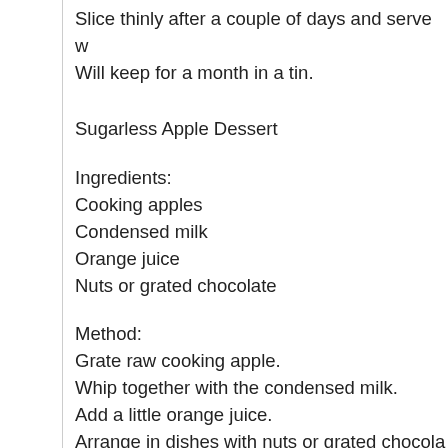Slice thinly after a couple of days and serve w Will keep for a month in a tin.
Sugarless Apple Dessert
Ingredients:
Cooking apples
Condensed milk
Orange juice
Nuts or grated chocolate
Method:
Grate raw cooking apple.
Whip together with the condensed milk.
Add a little orange juice.
Arrange in dishes with nuts or grated chocola
Sausage Pancakes